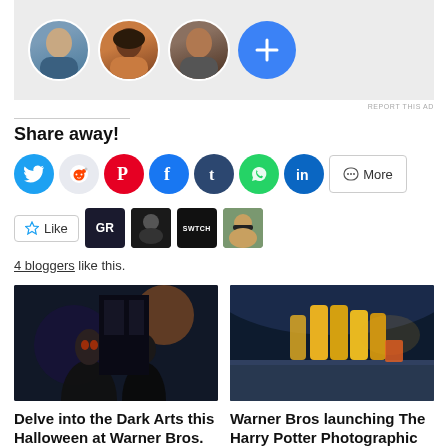[Figure (other): Advertisement area with four circular avatar images (three profile photos and one blue plus button)]
REPORT THIS AD
Share away!
[Figure (infographic): Social share buttons: Twitter, Reddit, Pinterest, Facebook, Tumblr, WhatsApp, LinkedIn, and More]
[Figure (infographic): Like button and 4 blogger avatar icons]
4 bloggers like this.
[Figure (photo): Dark artistic photo of two figures in dark robes with scary face paint/masks, for a Halloween Dark Arts event]
Delve into the Dark Arts this Halloween at Warner Bros. Studio Tour London
[Figure (photo): Interior architectural render of a modern exhibition space with curved ceiling, yellow accent lighting and display barrels]
Warner Bros launching The Harry Potter Photographic Exhibition in London this July